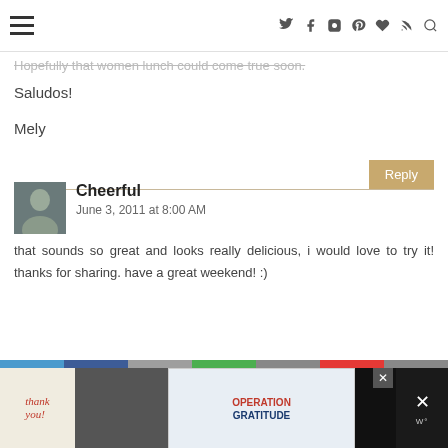Navigation header with hamburger menu and social icons
Hopefully that women lunch could come true soon.
Saludos!
Mely
Reply
Cheerful
June 3, 2011 at 8:00 AM
that sounds so great and looks really delicious, i would love to try it! thanks for sharing. have a great weekend! :)
[Figure (photo): Advertisement banner with 'thank you' message and Operation Gratitude ad, firefighters photo]
Bottom navigation bar with social share segments and advertisement banners